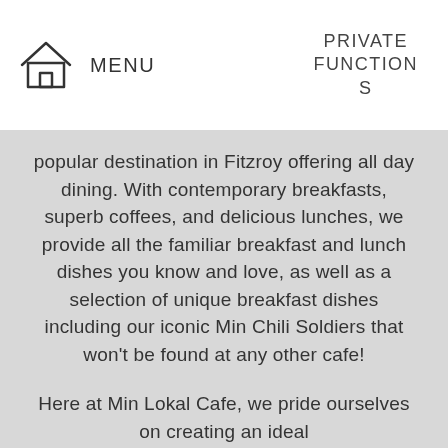MENU   PRIVATE FUNCTIONS
popular destination in Fitzroy offering all day dining. With contemporary breakfasts, superb coffees, and delicious lunches, we provide all the familiar breakfast and lunch dishes you know and love, as well as a selection of unique breakfast dishes including our iconic Min Chili Soldiers that won’t be found at any other cafe!
Here at Min Lokal Cafe, we pride ourselves on creating an ideal